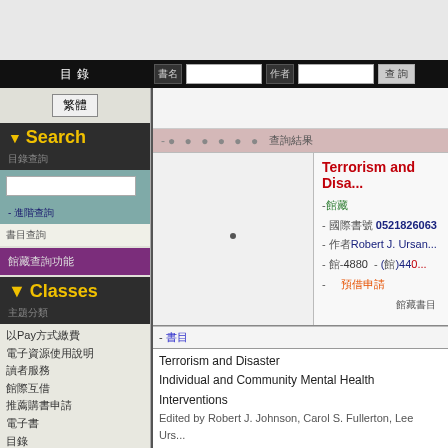Library catalog screenshot with navigation bar
Search
Classes
Terrorism and Disa...
ISBN 0521826063
Robert J. Ursan...
頁-4880 - (預)440...
Terrorism and Disaster
Individual and Community Mental Health Interventions